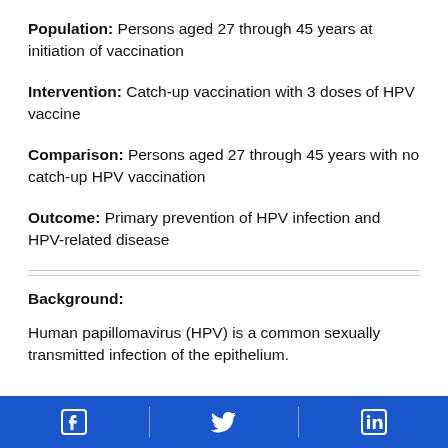Population: Persons aged 27 through 45 years at initiation of vaccination
Intervention: Catch-up vaccination with 3 doses of HPV vaccine
Comparison: Persons aged 27 through 45 years with no catch-up HPV vaccination
Outcome: Primary prevention of HPV infection and HPV-related disease
Background:
Human papillomavirus (HPV) is a common sexually transmitted infection of the epithelium.
Social media icons: Facebook, Twitter, LinkedIn